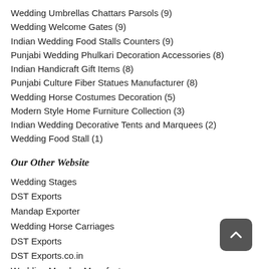Wedding Umbrellas Chattars Parsols (9)
Wedding Welcome Gates (9)
Indian Wedding Food Stalls Counters (9)
Punjabi Wedding Phulkari Decoration Accessories (8)
Indian Handicraft Gift Items (8)
Punjabi Culture Fiber Statues Manufacturer (8)
Wedding Horse Costumes Decoration (5)
Modern Style Home Furniture Collection (3)
Indian Wedding Decorative Tents and Marquees (2)
Wedding Food Stall (1)
Our Other Website
Wedding Stages
DST Exports
Mandap Exporter
Wedding Horse Carriages
DST Exports
DST Exports.co.in
Wedding Mandap Manufacturer